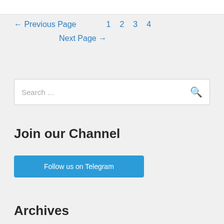← Previous Page   1   2   3   4
Next Page →
Search …
Join our Channel
Follow us on Telegram
Archives